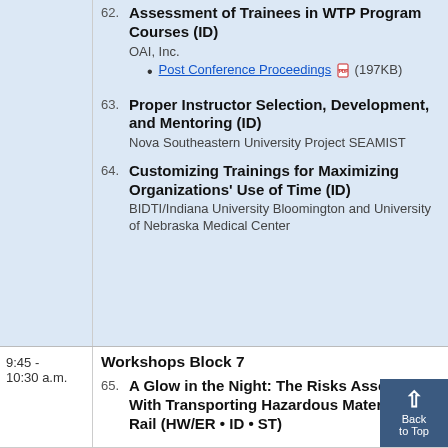62. Tools and Tips for Proficiency Assessment of Trainees in WTP Program Courses (ID) — OAI, Inc. — Post Conference Proceedings (197KB)
63. Proper Instructor Selection, Development, and Mentoring (ID) — Nova Southeastern University Project SEAMIST
64. Customizing Trainings for Maximizing Organizations' Use of Time (ID) — BIDTI/Indiana University Bloomington and University of Nebraska Medical Center
Workshops Block 7
65. A Glow in the Night: The Risks Associated With Transporting Hazardous Materials by Rail (HW/ER • ID • ST)
9:45 - 10:30 a.m.